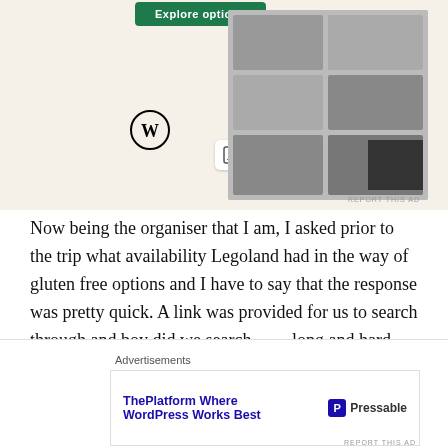[Figure (screenshot): WordPress advertisement banner showing 'Explore options' button, WordPress logo, food photography images on mobile screens, with beige background]
Now being the organiser that I am, I asked prior to the trip what availability Legoland had in the way of gluten free options and I have to say that the response was pretty quick. A link was provided for us to search through and boy did we search…….long and hard.  We took some supplies just in case.
On arrival on the morning of day 1 we were greeted by the lovely hotel reception team, very helpful and very patient
[Figure (screenshot): Advertisements banner at bottom: 'ThePlatform Where WordPress Works Best' with Pressable logo]